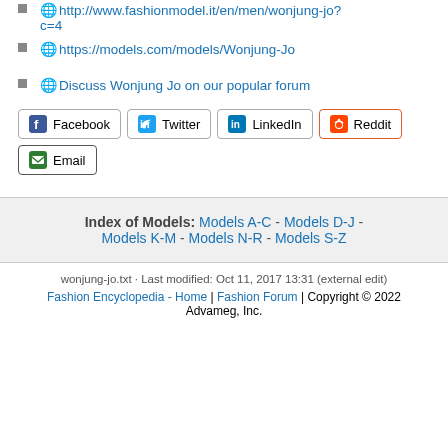http://www.fashionmodel.it/en/men/wonjung-jo?c=4
https://models.com/models/Wonjung-Jo
Discuss Wonjung Jo on our popular forum
Facebook | Twitter | LinkedIn | Reddit | Email (social share buttons)
Index of Models: Models A-C - Models D-J - Models K-M - Models N-R - Models S-Z
wonjung-jo.txt · Last modified: Oct 11, 2017 13:31 (external edit)
Fashion Encyclopedia - Home | Fashion Forum | Copyright © 2022 Advameg, Inc.